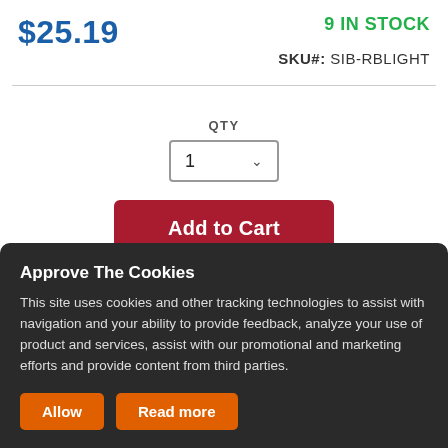$25.19
9 IN STOCK
SKU#: SIB-RBLIGHT
QTY
1
Add to Cart
⚡ Buy Now
Approve The Cookies
This site uses cookies and other tracking technologies to assist with navigation and your ability to provide feedback, analyze your use of product and services, assist with our promotional and marketing efforts and provide content from third parties.
Allow
Read more